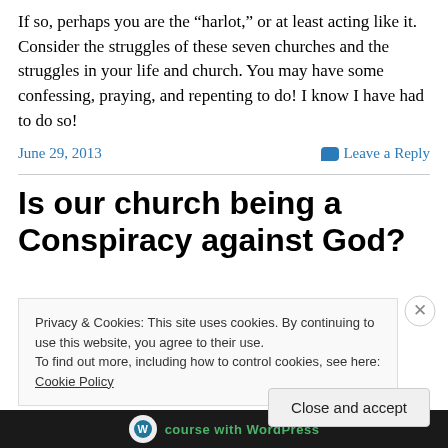If so, perhaps you are the “harlot,” or at least acting like it. Consider the struggles of these seven churches and the struggles in your life and church. You may have some confessing, praying, and repenting to do! I know I have had to do so!
June 29, 2013
Leave a Reply
Is our church being a Conspiracy against God?
Privacy & Cookies: This site uses cookies. By continuing to use this website, you agree to their use.
To find out more, including how to control cookies, see here: Cookie Policy
Close and accept
course with WordPress